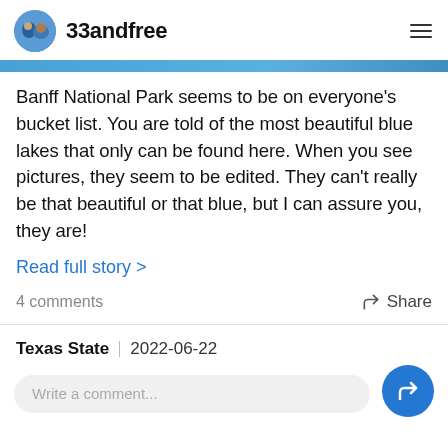33andfree
Banff National Park seems to be on everyone's bucket list. You are told of the most beautiful blue lakes that only can be found here. When you see pictures, they seem to be edited. They can't really be that beautiful or that blue, but I can assure you, they are!
Read full story >
4 comments   Share
Texas State  2022-06-22
Write a comment...